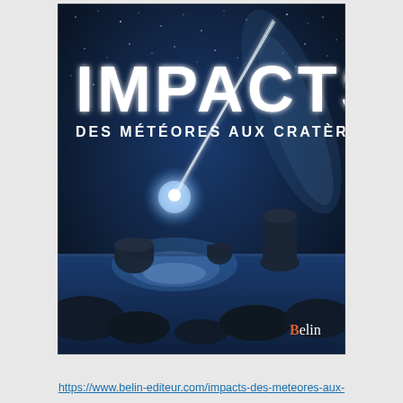[Figure (illustration): Book cover of 'IMPACTS - Des météores aux cratères' published by Belin. Shows a dramatic night sky scene with a bright meteor/fireball streaking diagonally across a dark blue starry sky above a rocky coastal seascape with sea stacks silhouetted against the illuminated water. The book title 'IMPACTS' is displayed in large bold white text, with subtitle 'DES MÉTÉORES AUX CRATÈRES' below it. The Belin publisher logo appears in the bottom-right corner.]
https://www.belin-editeur.com/impacts-des-meteores-aux-